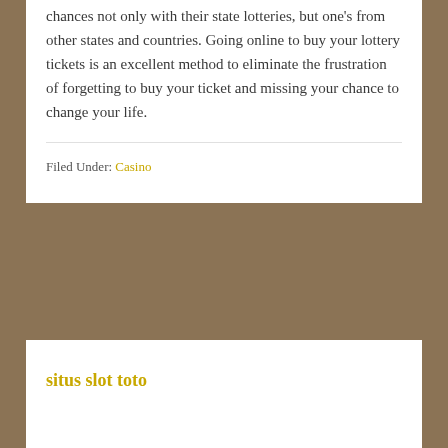chances not only with their state lotteries, but one's from other states and countries. Going online to buy your lottery tickets is an excellent method to eliminate the frustration of forgetting to buy your ticket and missing your chance to change your life.
Filed Under: Casino
situs slot toto